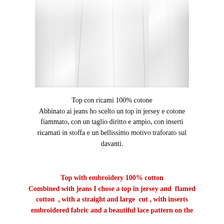[Figure (photo): Close-up photograph of white fabric/textile with soft folds and texture, appearing to be a white cotton top or garment.]
Top con ricami 100% cotone
Abbinato ai jeans ho scelto un top in jersey e cotone fiammato, con un taglio diritto e ampio, con inserti ricamati in stoffa e un bellissimo motivo traforato sul davanti.
Top with embroidery 100% cotton
Combined with jeans I chose a top in jersey and flamed cotton , with a straight and large cut , with inserts embroidered fabric and a beautiful lace pattern on the